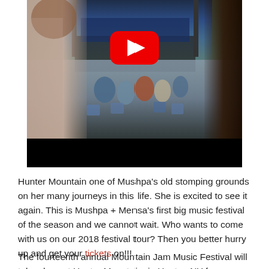[Figure (photo): A YouTube video thumbnail showing a music festival crowd at Hunter Mountain with a large stage in the background. Two people are visible in the foreground, one on the left with long hair in a gray hoodie, one on the right in a dark shirt. A large red YouTube play button is centered on the image. The bottom portion shows a black bar.]
Hunter Mountain one of Mushpa's old stomping grounds on her many journeys in this life. She is excited to see it again. This is Mushpa + Mensa's first big music festival of the season and we cannot wait. Who wants to come with us on our 2018 festival tour? Then you better hurry up and get your tickets on!!!
The fourteenth annual Mountain Jam Music Festival will take place at Hunter Mountain, in Hunter, NY from Friday